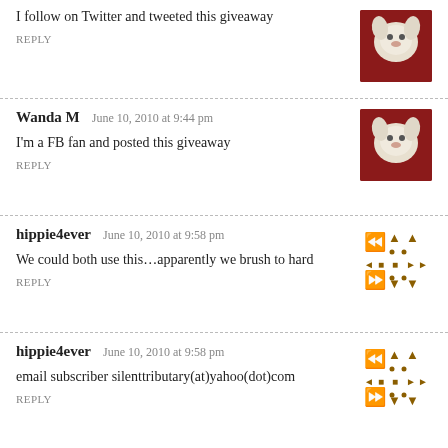I follow on Twitter and tweeted this giveaway
REPLY
Wanda M   June 10, 2010 at 9:44 pm
I'm a FB fan and posted this giveaway
REPLY
hippie4ever   June 10, 2010 at 9:58 pm
We could both use this…apparently we brush to hard
REPLY
hippie4ever   June 10, 2010 at 9:58 pm
email subscriber silenttributary(at)yahoo(dot)com
REPLY
Allison   June 10, 2010 at 10:01 pm
Great giveaway!